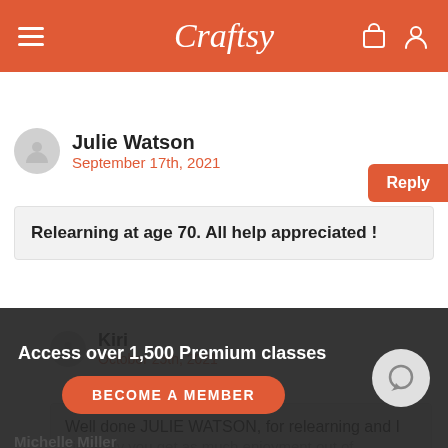Craftsy
Reply
Julie Watson
September 17th, 2021
Relearning at age 70. All help appreciated !
Reply
Kiri
October 25th, 2021
Well done JULIE WATSON, for relearning and I sincerely you get as much enjoyment out of cro...
Access over 1,500 Premium classes
BECOME A MEMBER
Michelle Miller